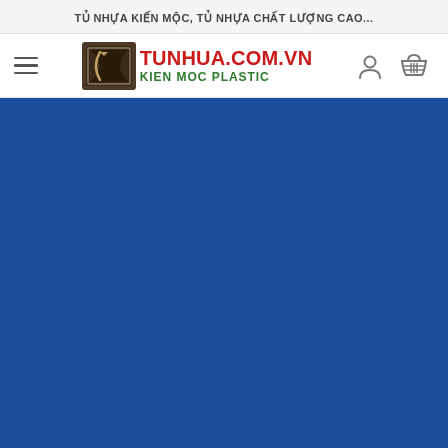TỦ NHỰA KIẾN MỘC, TỦ NHỰA CHẤT LƯỢNG CAO...
[Figure (logo): Tunhua.com.vn Kien Moc Plastic logo with navigation bar including hamburger menu, logo, user icon and cart icon]
[Figure (photo): Large solid blue background section filling the lower portion of the page]